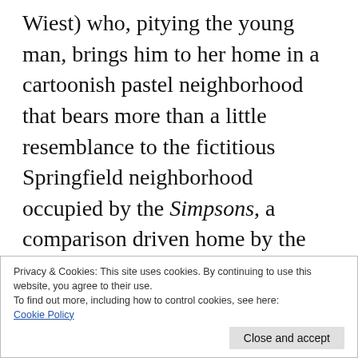Wiest) who, pitying the young man, brings him to her home in a cartoonish pastel neighborhood that bears more than a little resemblance to the fictitious Springfield neighborhood occupied by the Simpsons, a comparison driven home by the film's memorable Danny Elfman Score. There, Edward becomes the toast of the town in a series of charming and ingeniously funny scenes and later, the object of sympathy from doe-eyed daughter Kim (Wynona Ryder)
Privacy & Cookies: This site uses cookies. By continuing to use this website, you agree to their use. To find out more, including how to control cookies, see here: Cookie Policy
Close and accept